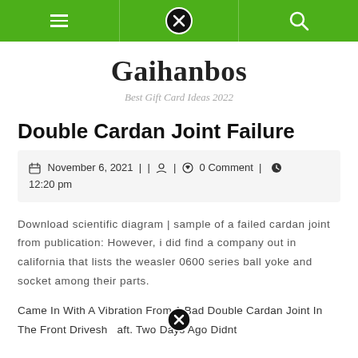Gaihanbos navigation bar with hamburger menu, close button, and search icon
Gaihanbos
Best Gift Card Ideas 2022
Double Cardan Joint Failure
November 6, 2021 | | | 0 Comment | 12:20 pm
Download scientific diagram | sample of a failed cardan joint from publication: However, i did find a company out in california that lists the weasler 0600 series ball yoke and socket among their parts.
Came In With A Vibration From A Bad Double Cardan Joint In The Front Driveshaft. Two Days Ago Didnt